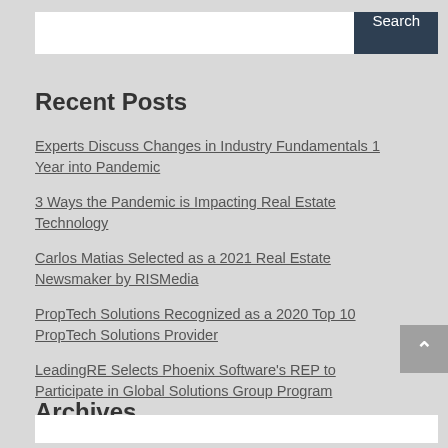Search
Recent Posts
Experts Discuss Changes in Industry Fundamentals 1 Year into Pandemic
3 Ways the Pandemic is Impacting Real Estate Technology
Carlos Matias Selected as a 2021 Real Estate Newsmaker by RISMedia
PropTech Solutions Recognized as a 2020 Top 10 PropTech Solutions Provider
LeadingRE Selects Phoenix Software's REP to Participate in Global Solutions Group Program
Archives